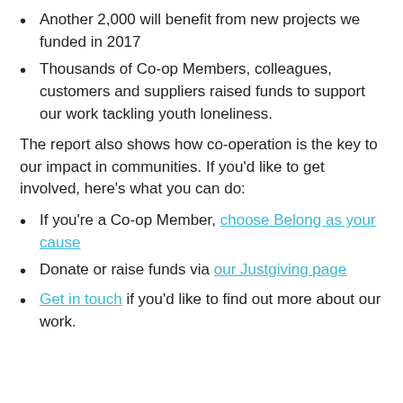Another 2,000 will benefit from new projects we funded in 2017
Thousands of Co-op Members, colleagues, customers and suppliers raised funds to support our work tackling youth loneliness.
The report also shows how co-operation is the key to our impact in communities. If you'd like to get involved, here's what you can do:
If you're a Co-op Member, choose Belong as your cause
Donate or raise funds via our Justgiving page
Get in touch if you'd like to find out more about our work.